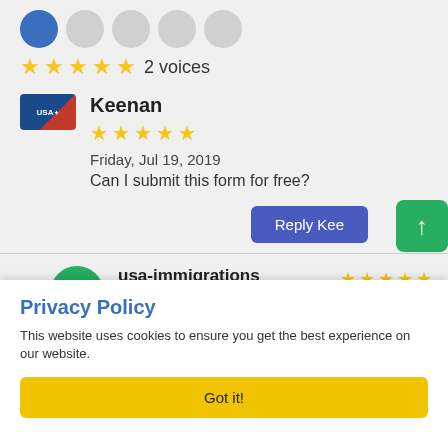[Figure (screenshot): User avatars row with one blue filled circle and four gray circles]
★★★★★ 2 voices
[Figure (logo): USA immigration logo badge]
Keenan
★★★★★
Friday, Jul 19, 2019
Can I submit this form for free?
Reply Kee
[Figure (illustration): Green up-arrow button]
[Figure (illustration): Green USA circle avatar]
usa-immigrations
Reply for Keenan
Privacy Policy
This website uses cookies to ensure you get the best experience on our website.
Got it!